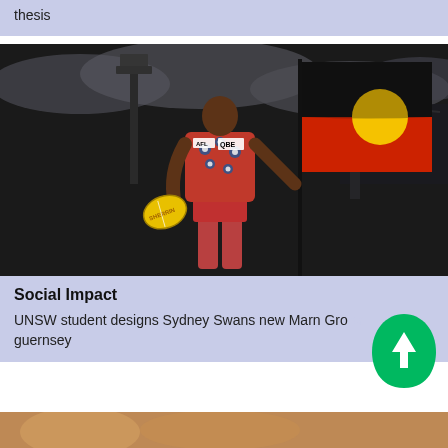thesis
[Figure (photo): AFL footballer Lance Franklin wearing Sydney Swans Marn Grook Indigenous guernsey, holding a yellow Sherrin football, standing in front of the Aboriginal flag at a stadium]
Social Impact
UNSW student designs Sydney Swans new Marn Grook guernsey
[Figure (other): Green teardrop-shaped FAB button with upward arrow icon]
[Figure (photo): Partial image at bottom of page - another article card image]